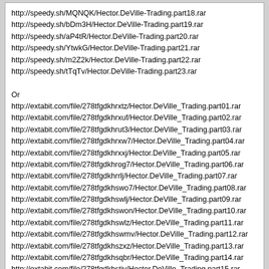http://speedy.sh/MQNQK/Hector.DeVille-Trading.part18.rar
http://speedy.sh/bDm3H/Hector.DeVille-Trading.part19.rar
http://speedy.sh/aP4tR/Hector.DeVille-Trading.part20.rar
http://speedy.sh/YtwkG/Hector.DeVille-Trading.part21.rar
http://speedy.sh/m2Z2k/Hector.DeVille-Trading.part22.rar
http://speedy.sh/tTqTv/Hector.DeVille-Trading.part23.rar

Or
http://extabit.com/file/278tfgdkhrxtz/Hector.DeVille_Trading.part01.rar
http://extabit.com/file/278tfgdkhrxuf/Hector.DeVille_Trading.part02.rar
http://extabit.com/file/278tfgdkhrut3/Hector.DeVille_Trading.part03.rar
http://extabit.com/file/278tfgdkhrxw7/Hector.DeVille_Trading.part04.rar
http://extabit.com/file/278tfgdkhrxxj/Hector.DeVille_Trading.part05.rar
http://extabit.com/file/278tfgdkhrog7/Hector.DeVille_Trading.part06.rar
http://extabit.com/file/278tfgdkhrrlj/Hector.DeVille_Trading.part07.rar
http://extabit.com/file/278tfgdkhswo7/Hector.DeVille_Trading.part08.rar
http://extabit.com/file/278tfgdkhswlj/Hector.DeVille_Trading.part09.rar
http://extabit.com/file/278tfgdkhswon/Hector.DeVille_Trading.part10.rar
http://extabit.com/file/278tfgdkhswlz/Hector.DeVille_Trading.part11.rar
http://extabit.com/file/278tfgdkhswmv/Hector.DeVille_Trading.part12.rar
http://extabit.com/file/278tfgdkhszxz/Hector.DeVille_Trading.part13.rar
http://extabit.com/file/278tfgdkhsqbr/Hector.DeVille_Trading.part14.rar
http://extabit.com/file/278tfgdkhstiv/Hector.DeVille_Trading.part15.rar
http://extabit.com/file/278tfgdkhsth3/Hector.DeVille_Trading.part16.rar
http://extabit.com/file/278tfgdkhstg7/Hector.DeVille_Trading.part17.rar
http://extabit.com/file/278tfgdkhstl3/Hector.DeVille_Trading.part18.rar
http://extabit.com/file/278tfgdkhstlz/Hector.DeVille_Trading.part19.rar
http://extabit.com/file/278tfgdkhstmf/Hector.DeVille_Trading.part20.rar
http://extabit.com/file/278tfgdkhsk3b/Hector.DeVille_Trading.part21.rar
http://extabit.com/file/278tfgdkhsdpj/Hector.DeVille_Trading.part22.rar
http://extabit.com/file/278tfgdkhsn8n/Hector.DeVille_Trading.part23.rar
Salman Kashfy | 11-08-2020, 09:52 PM
I'm looking for good signal services as previously I used some signal services on FreshForex broker but currently, they are not working so if you provide such services then please write to me here.